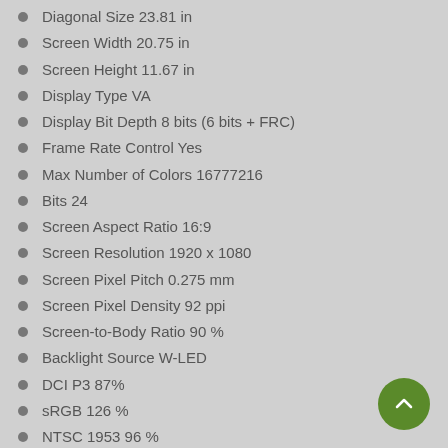Diagonal Size 23.81 in
Screen Width 20.75 in
Screen Height 11.67 in
Display Type VA
Display Bit Depth 8 bits (6 bits + FRC)
Frame Rate Control Yes
Max Number of Colors 16777216
Bits 24
Screen Aspect Ratio 16:9
Screen Resolution 1920 x 1080
Screen Pixel Pitch 0.275 mm
Screen Pixel Density 92 ppi
Screen-to-Body Ratio 90 %
Backlight Source W-LED
DCI P3 87%
sRGB 126 %
NTSC 1953 96 %